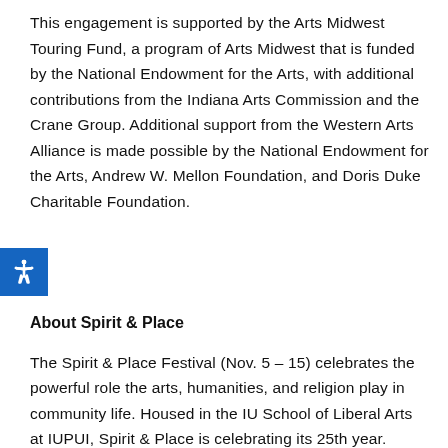This engagement is supported by the Arts Midwest Touring Fund, a program of Arts Midwest that is funded by the National Endowment for the Arts, with additional contributions from the Indiana Arts Commission and the Crane Group. Additional support from the Western Arts Alliance is made possible by the National Endowment for the Arts, Andrew W. Mellon Foundation, and Doris Duke Charitable Foundation.
About Spirit & Place
The Spirit & Place Festival (Nov. 5 – 15) celebrates the powerful role the arts, humanities, and religion play in community life. Housed in the IU School of Liberal Arts at IUPUI, Spirit & Place is celebrating its 25th year. Learn more at spiritandplace.org!